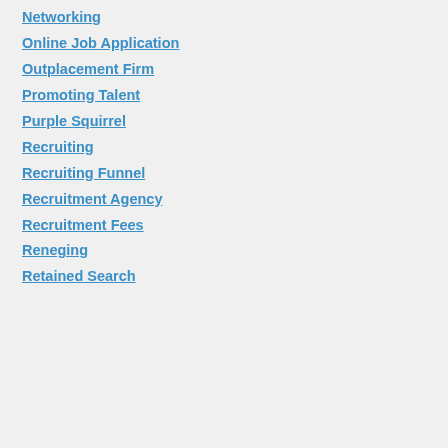Networking
Online Job Application
Outplacement Firm
Promoting Talent
Purple Squirrel
Recruiting
Recruiting Funnel
Recruitment Agency
Recruitment Fees
Reneging
Retained Search